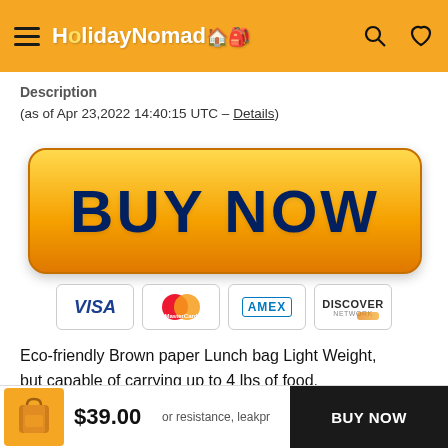HolidayNomad
Description
(as of Apr 23,2022 14:40:15 UTC – Details)
[Figure (other): BUY NOW button — large yellow-to-orange gradient button with dark navy bold text reading 'BUY NOW']
[Figure (other): Payment method icons: VISA, MasterCard, AMEX, DISCOVER NETWORK]
Eco-friendly Brown paper Lunch bag Light Weight, but capable of carrying up to 4 lbs of food.
or resistance, leakpr
ivies and creases makes tyrek Materials the
$39.00
BUY NOW